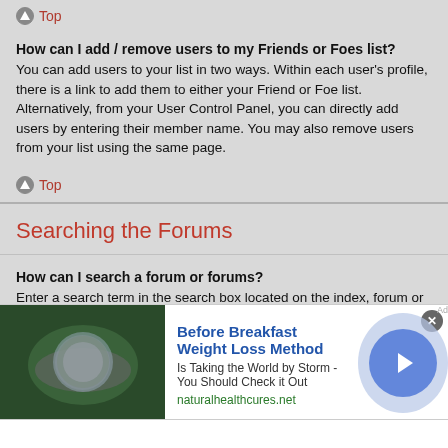Top
How can I add / remove users to my Friends or Foes list?
You can add users to your list in two ways. Within each user's profile, there is a link to add them to either your Friend or Foe list. Alternatively, from your User Control Panel, you can directly add users by entering their member name. You may also remove users from your list using the same page.
Top
Searching the Forums
How can I search a forum or forums?
Enter a search term in the search box located on the index, forum or topic pages. Advanced search can be accessed by clicking the "Advance Search" link which is available on all pages on the forum. How to access the search may depend on the style used.
Top
[Figure (other): Advertisement banner: Before Breakfast Weight Loss Method - Is Taking the World by Storm - You Should Check it Out - naturalhealthcures.net]